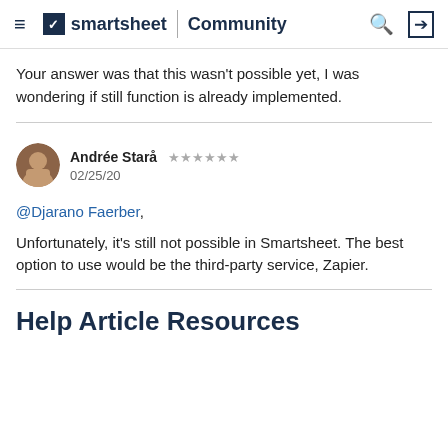smartsheet Community
Your answer was that this wasn't possible yet, I was wondering if still function is already implemented.
Andrée Starå ★★★★★★ 02/25/20
@Djarano Faerber,
Unfortunately, it's still not possible in Smartsheet. The best option to use would be the third-party service, Zapier.
Help Article Resources